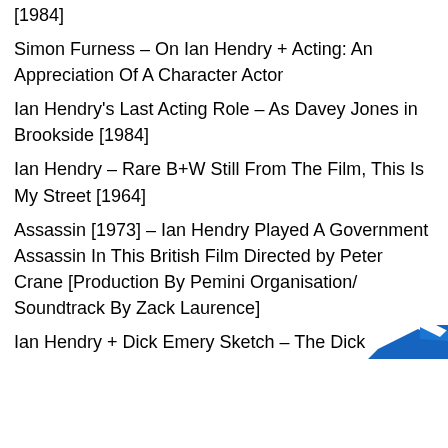[1984]
Simon Furness – On Ian Hendry + Acting: An Appreciation Of A Character Actor
Ian Hendry's Last Acting Role – As Davey Jones in Brookside [1984]
Ian Hendry – Rare B+W Still From The Film, This Is My Street [1964]
Assassin [1973] – Ian Hendry Played A Government Assassin In This British Film Directed by Peter Crane [Production By Pemini Organisation/ Soundtrack By Zack Laurence]
Ian Hendry + Dick Emery Sketch – The Dick Emery Show [1976]. A Military Attache From The Russian Embassy Meets 'Jack' In A London Pub. Jack's A British Naval Officer In Search Of A Spy And A D